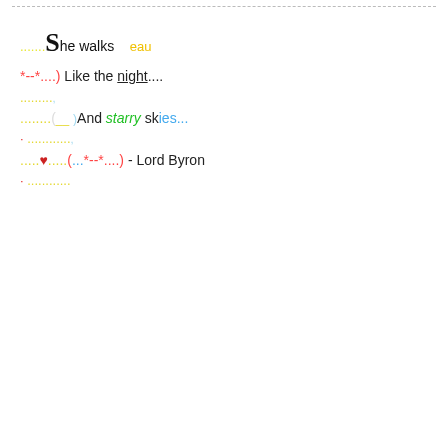She walks   eau
*--*....) Like the night....
.........
........(__  __)And starry skies...
. ..............
.....♥....(...*--*....) - Lord Byron
. ..............
jenmaren
Registered User
Amateur Sleuth
Join Date: Apr 2008   Posts: 74
July 14, 2008, 03:26 PM
#43
I rated this game 9/10, mostly because I can't stand the sound of Prudence Rutherford's voice, it is grating on my ears at the best of times:) I love her personality and the silliness of her character but I wish, like Sonny Joon in other games we could actually SEE her!
The storyline definitely did not live up to previous Nancy Drew games, in terms of being scary enough and I spent most of my (Nancy's) time